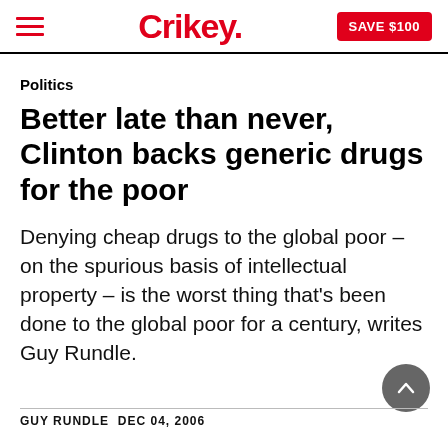Crikey. SAVE $100
Politics
Better late than never, Clinton backs generic drugs for the poor
Denying cheap drugs to the global poor – on the spurious basis of intellectual property – is the worst thing that’s been done to the global poor for a century, writes Guy Rundle.
GUY RUNDLE  DEC 04, 2006